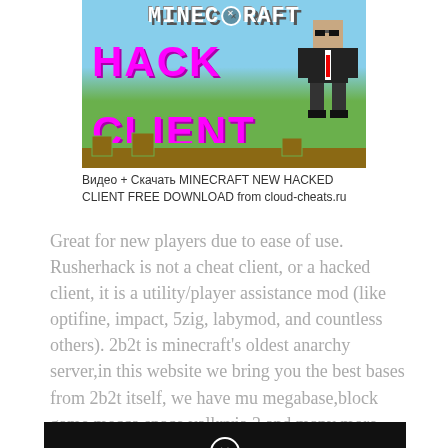[Figure (screenshot): Minecraft HACK CLIENT thumbnail image with magenta text reading HACK CLIENT over a Minecraft landscape background with a character in a suit]
Видео + Скачать MINECRAFT NEW HACKED CLIENT FREE DOWNLOAD from cloud-cheats.ru
Great for new players due to ease of use. Rusherhack is not a cheat client, or a hacked client, it is a utility/player assistance mod (like optifine, impact, 5zig, labymod, and countless others). 2b2t is minecraft's oldest anarchy server,in this website we bring you the best bases from 2b2t itself, we have mu megabase,block game mecca,space valkryia 3 and many more.
[Figure (screenshot): Dark video thumbnail with a circled X icon in the center]